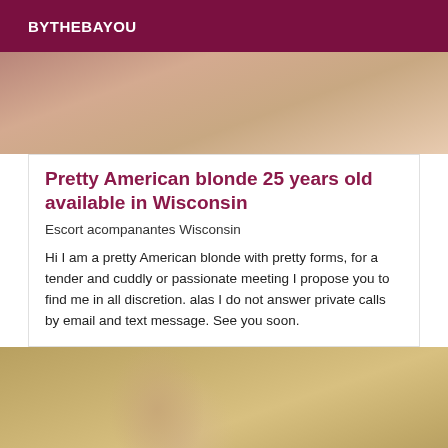BYTHEBAYOU
[Figure (photo): Partial top photo of a person, cropped showing upper body area with warm tones]
Pretty American blonde 25 years old available in Wisconsin
Escort acompanantes Wisconsin
Hi I am a pretty American blonde with pretty forms, for a tender and cuddly or passionate meeting I propose you to find me in all discretion. alas I do not answer private calls by email and text message. See you soon.
[Figure (photo): Photo of a young woman with curly blonde hair, looking downward, wearing earrings, with green plant visible in background]